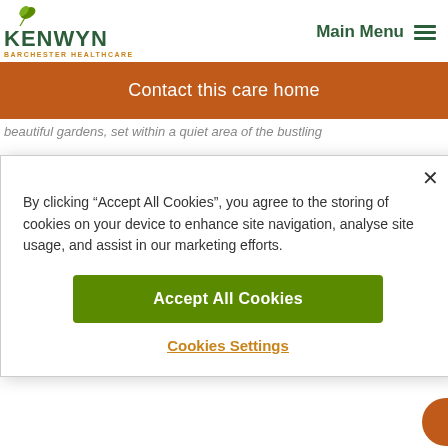KENWYN BARCHESTER HEALTHCARE | Main Menu
Contact this care home
beautiful gardens, set within a quiet area of the bustling
By clicking “Accept All Cookies”, you agree to the storing of cookies on your device to enhance site navigation, analyse site usage, and assist in our marketing efforts.
Accept All Cookies
Cookies Settings